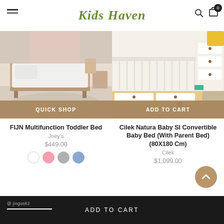Kids Haven
[Figure (photo): FIJN Multifunction Toddler Bed product photo showing a light wood children's bed in a scandinavian styled room]
QUICK SHOP
[Figure (photo): Cilek Natura Baby Sl Convertible Baby Bed product photo showing white and wood crib with drawer in a children's room]
ADD TO CART
FIJN Multifunction Toddler Bed
Joey's
$449.00
Cilek Natura Baby Sl Convertible Baby Bed (With Parent Bed) (80X180 Cm)
Cilek
$1,099.00
ADD TO CART